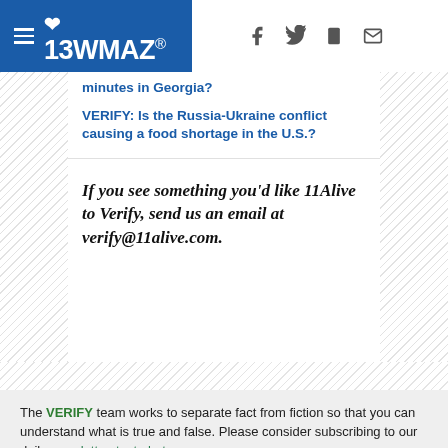13WMAZ
minutes in Georgia?
VERIFY: Is the Russia-Ukraine conflict causing a food shortage in the U.S.?
If you see something you'd like 11Alive to Verify, send us an email at verify@11alive.com.
The VERIFY team works to separate fact from fiction so that you can understand what is true and false. Please consider subscribing to our daily newsletter, text alerts